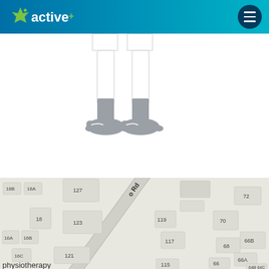active+
[Figure (illustration): Lower half of a cartoon human figure showing legs in white shorts, grey socks, and grey shoes/sneakers against a white background]
[Figure (map): Street map showing building outlines and street numbers including 18B, 18A, 127, 123, 119, 117, 115, 18, 16A, 16B, 16C, 121, 70, 68, 66, 66A, 66B, 72, and partial text reading 'o Rd' on a road, and 'physiotherapy' at bottom left]